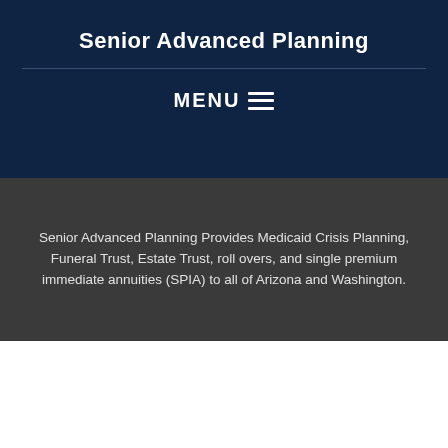Senior Advanced Planning
[Figure (other): MENU hamburger icon with three horizontal lines]
Senior Advanced Planning Provides Medicaid Crisis Planning, Funeral Trust, Estate Trust, roll overs, and single premium immediate annuities (SPIA) to all of Arizona and Washington.